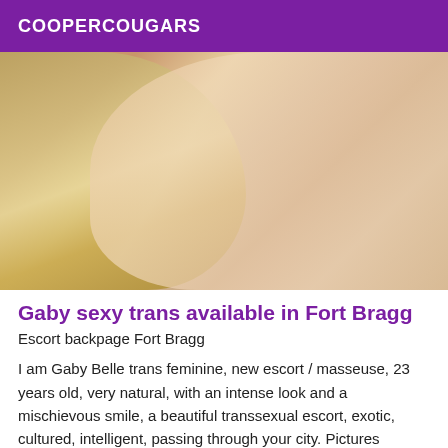COOPERCOUGARS
[Figure (photo): Close-up photo of a blonde woman in a white lace bra, showing décolletage and face partially visible, hair cascading down.]
Gaby sexy trans available in Fort Bragg
Escort backpage Fort Bragg
I am Gaby Belle trans feminine, new escort / masseuse, 23 years old, very natural, with an intense look and a mischievous smile, a beautiful transsexual escort, exotic, cultured, intelligent, passing through your city. Pictures